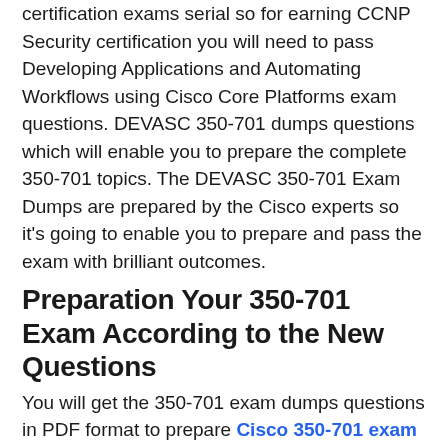certification exams serial so for earning CCNP Security certification you will need to pass Developing Applications and Automating Workflows using Cisco Core Platforms exam questions. DEVASC 350-701 dumps questions which will enable you to prepare the complete 350-701 topics. The DEVASC 350-701 Exam Dumps are prepared by the Cisco experts so it's going to enable you to prepare and pass the exam with brilliant outcomes.
Preparation Your 350-701 Exam According to the New Questions
You will get the 350-701 exam dumps questions in PDF format to prepare Cisco 350-701 exam questions. These Examsleader elite 350-701 pdf dumps are extremely straightforward to make use of, you'll be able to use them in any device as all devices help them. DEVASC 350-701 dumps questions are compiled in such a way that the majority of the 350-